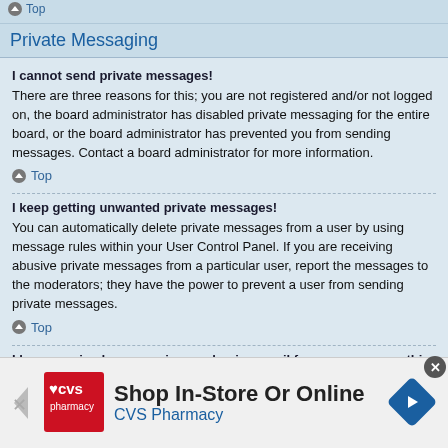Top
Private Messaging
I cannot send private messages!
There are three reasons for this; you are not registered and/or not logged on, the board administrator has disabled private messaging for the entire board, or the board administrator has prevented you from sending messages. Contact a board administrator for more information.
Top
I keep getting unwanted private messages!
You can automatically delete private messages from a user by using message rules within your User Control Panel. If you are receiving abusive private messages from a particular user, report the messages to the moderators; they have the power to prevent a user from sending private messages.
Top
I have received a spamming or abusive email from someone on this board!
We are sorry to hear that. The email form feature of this board includes...